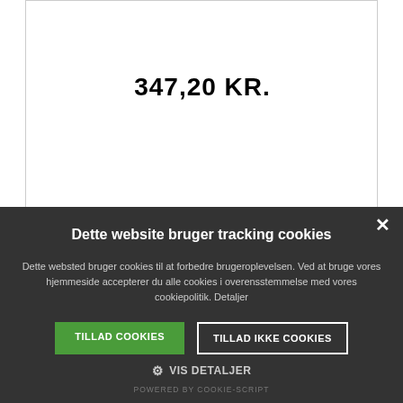347,20 KR.
1
LÆG I KURVEN
Dette website bruger tracking cookies
Dette websted bruger cookies til at forbedre brugeroplevelsen. Ved at bruge vores hjemmeside accepterer du alle cookies i overensstemmelse med vores cookiepolitik. Detaljer
TILLAD COOKIES
TILLAD IKKE COOKIES
VIS DETALJER
POWERED BY COOKIE-SCRIPT